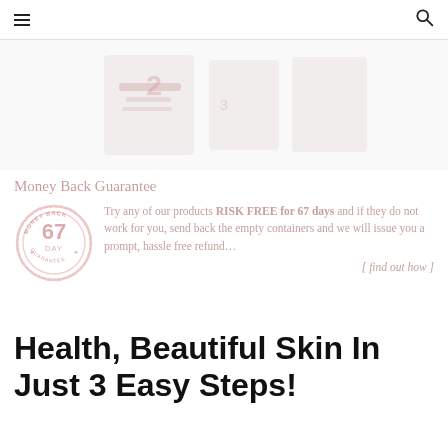[Figure (photo): Faded/ghosted product images showing skincare product packages, partially visible at top]
Money Back Guarantee
[Figure (logo): 67 Day Money Back Guarantee circular seal/stamp in light pink/rose color]
Try any of our products RISK FREE for 67 days and if they do not work for you, send back the empty containers and we will issue you a prompt, hassle free refund…
[ find out how ]
Health, Beautiful Skin In Just 3 Easy Steps!